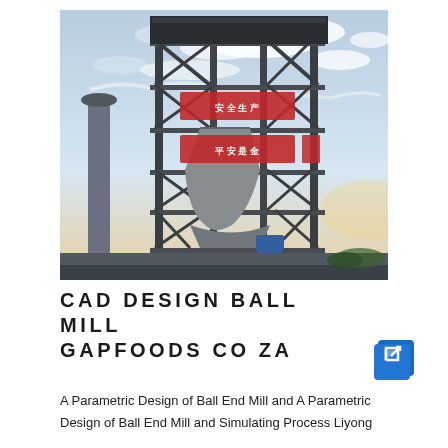[Figure (photo): Industrial ball mill facility tower structure with steel framework, pipes, and Chinese signage banners, photographed against a cloudy sky.]
CAD DESIGN BALL MILL GAPFOODS CO ZA
A Parametric Design of Ball End Mill and A Parametric Design of Ball End Mill and Simulating Process Liyong